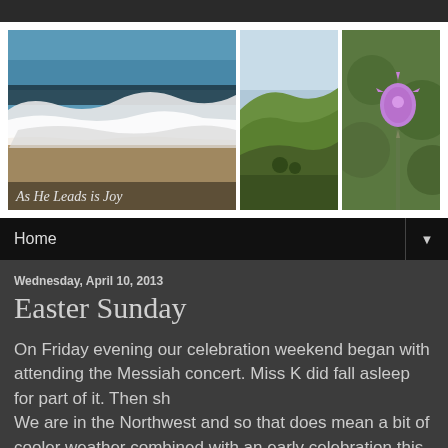[Figure (photo): Blog header with three photos: ocean waves on the left with text overlay 'As He Leads is Joy', rolling green hills in the middle, and a purple thistle flower on the right]
Home ▼
Wednesday, April 10, 2013
Easter Sunday
On Friday evening our celebration weekend began with attending the Messiah concert. Miss K did fall asleep for part of it. Then sh
We are in the Northwest and so that does mean a bit of cooler weather combined with an early celebration this year. It was a cool day so the sweater was added. I had bought